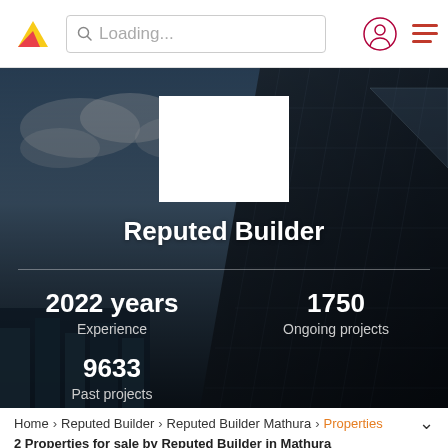Loading...
[Figure (screenshot): Builder profile hero section with background photo of buildings and sky. White square placeholder for profile image. Shows builder name 'Reputed Builder' and stats: 2022 years Experience, 1750 Ongoing projects, 9633 Past projects.]
Reputed Builder
2022 years
Experience
1750
Ongoing projects
9633
Past projects
Home › Reputed Builder › Reputed Builder Mathura › Properties
2 Properties for sale by Reputed Builder in Mathura